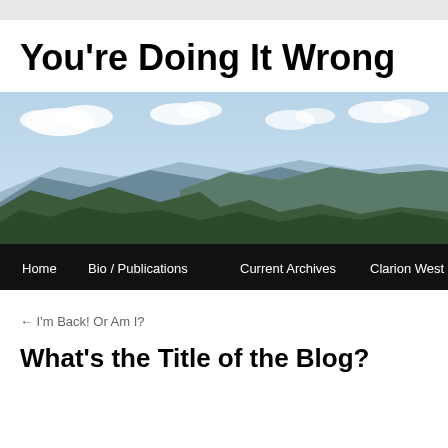You're Doing It Wrong
[Figure (photo): Aerial view of forested mountain ridges with blue sky and white clouds above; navigation bar with links: Home, Bio / Publications, Current Archives, Clarion West 08]
← I'm Back! Or Am I?
What's the Title of the Blog?